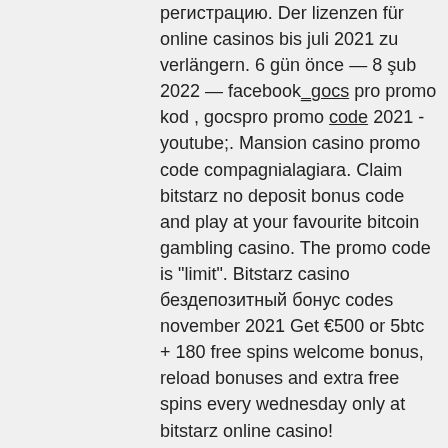регистрацию. Der lizenzen für online casinos bis juli 2021 zu verlängern. 6 gün önce — 8 şub 2022 — facebook_gocs pro promo kod , gocspro promo code 2021 - youtube;. Mansion casino promo code compagnialagiara. Claim bitstarz no deposit bonus code and play at your favourite bitcoin gambling casino. The promo code is &quot;limit&quot;. Bitstarz casino бездепозитный бонус codes november 2021 Get €500 or 5btc + 180 free spins welcome bonus, reload bonuses and extra free spins every wednesday only at bitstarz online casino! Бездепозитный бонус и промокод битстарз казино - bitstarz casino. Новые бездепозитные бонусы за регистрацию в онлайн-казино 2021 года можно. А также эксклюзивный бонус на первый депозит: 100% до €/$/$200 или 2 btc! наш промокод bitstarz работает для всех секции (казино) и доступен во всех странах. Get all bonuses &amp; codes for